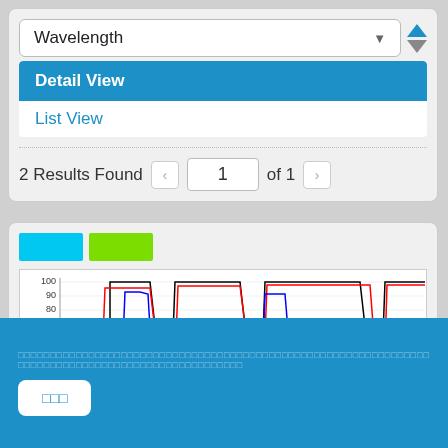Wavelength
Detail View
List View
2 Results Found  1  of 1
[Figure (continuous-plot): Spectral transmission chart showing three overlapping curves (black, red, blue) with %T on y-axis ranging from 0-100, showing bandpass filter profiles with multiple transmission windows near 100%T]
□□□□□□□□□□□□□□□□□□□□□□□□□□□□□□□□□□□□□□□□□□□□□□□□□□□□□□□□□□□□□□□□□□□□□□□□□□□□□□□□□□□□□□□□□□□□□□□
□□□